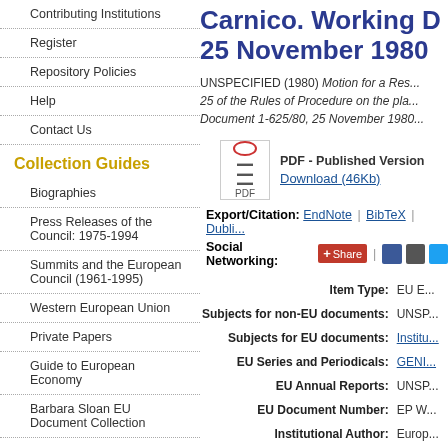Contributing Institutions
Register
Repository Policies
Help
Contact Us
Collection Guides
Biographies
Press Releases of the Council: 1975-1994
Summits and the European Council (1961-1995)
Western European Union
Private Papers
Guide to European Economy
Barbara Sloan EU Document Collection
Search and Browse
Carnico. Working D... 25 November 1980
UNSPECIFIED (1980) Motion for a Res... 25 of the Rules of Procedure on the pla... Document 1-625/80, 25 November 1980...
PDF - Published Version Download (46Kb)
Export/Citation: EndNote | BibTeX | Dubli...
Social Networking: Share
| Field | Value |
| --- | --- |
| Item Type: | EU E... |
| Subjects for non-EU documents: | UNSP... |
| Subjects for EU documents: | Institu... |
| EU Series and Periodicals: | GENI... |
| EU Annual Reports: | UNSP... |
| EU Document Number: | EP W... |
| Institutional Author: | Europ... |
| Depositing User: | Phil... |